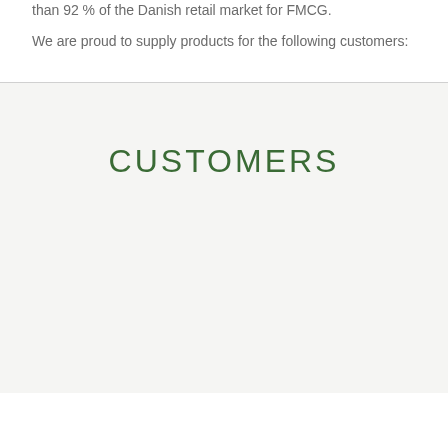than 92 % of the Danish retail market for FMCG.
We are proud to supply products for the following customers:
CUSTOMERS